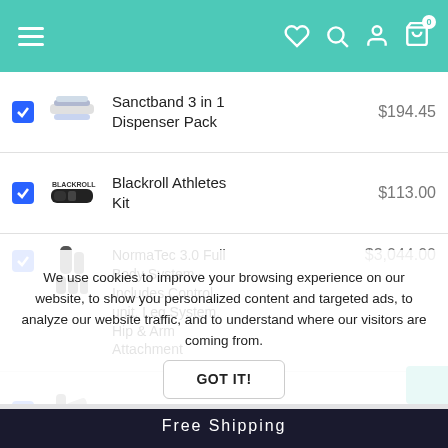[Figure (screenshot): E-commerce mobile shopping cart page with teal header navigation bar containing hamburger menu, heart, search, account, and cart icons. Lists four products with checkboxes, product images, names, and prices. A cookie consent overlay partially covers the third item. A 'Free Shipping' bar appears at the bottom.]
Sanctband 3 in 1 Dispenser Pack — $194.45
Blackroll Athletes Kit — $113.00
NormaTec 3.0 Full Body System - Includes Control unit, Leg System, Hip & Arm Attachment — $3,044.00
Hypervolt Go... — $330.45
We use cookies to improve your browsing experience on our website, to show you personalized content and targeted ads, to analyze our website traffic, and to understand where our visitors are coming from.
GOT IT!
Free Shipping